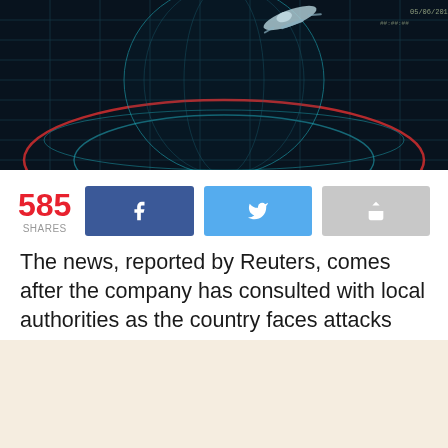[Figure (photo): Dark futuristic globe/radar digital map image with red and teal glowing grid lines, showing a globe with satellite or aircraft silhouette overhead]
585 SHARES
The news, reported by Reuters, comes after the company has consulted with local authorities as the country faces attacks from Russian forces. The features will remain on for local turn-by-turn navigation for drivers, while broader global access is disabled.